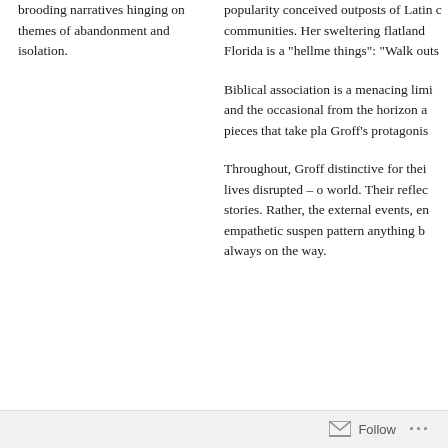brooding narratives hinging on themes of abandonment and isolation.
popularity conceived outposts of Latin communities. Her sweltering flatland Florida is a "hellme things": "Walk outs
Biblical association is a menacing limi and the occasional from the horizon a pieces that take pla Groff's protagonis
Throughout, Groff distinctive for thei lives disrupted – o world. Their reflec stories. Rather, the external events, en empathetic suspen pattern anything b always on the way.
Follow